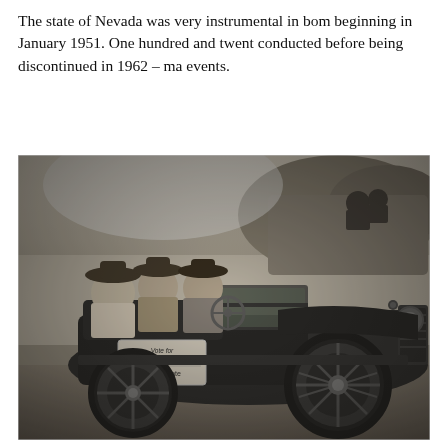The state of Nevada was very instrumental in bom beginning in January 1951. One hundred and twent conducted before being discontinued in 1962 – ma events.
[Figure (photo): Black and white historical photograph of several people seated in an open-top vintage automobile (circa early 20th century). The car has a campaign sign on the side reading 'Vote for Anne Martin U.S. Senate'. The occupants are wearing hats. Rocky terrain visible in the background.]